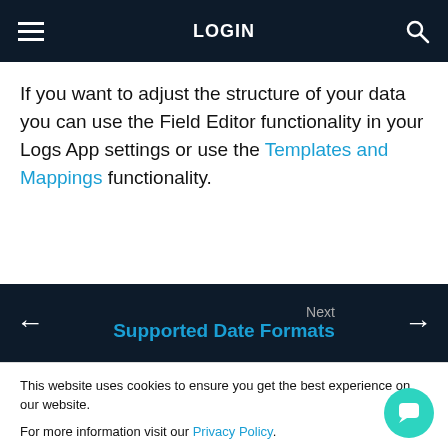≡   LOGIN  🔍
If you want to adjust the structure of your data you can use the Field Editor functionality in your Logs App settings or use the Templates and Mappings functionality.
Next  Supported Date Formats  ←  →
© Sematext
This website uses cookies to ensure you get the best experience on our website.

For more information visit our Privacy Policy.
Cookies settings    I Agree    I Disagree